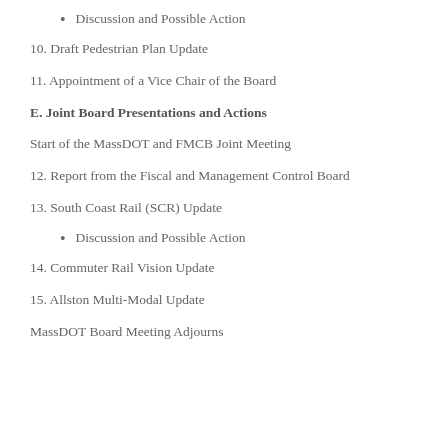Discussion and Possible Action
10. Draft Pedestrian Plan Update
11. Appointment of a Vice Chair of the Board
E. Joint Board Presentations and Actions
Start of the MassDOT and FMCB Joint Meeting
12. Report from the Fiscal and Management Control Board
13. South Coast Rail (SCR) Update
Discussion and Possible Action
14. Commuter Rail Vision Update
15. Allston Multi-Modal Update
MassDOT Board Meeting Adjourns